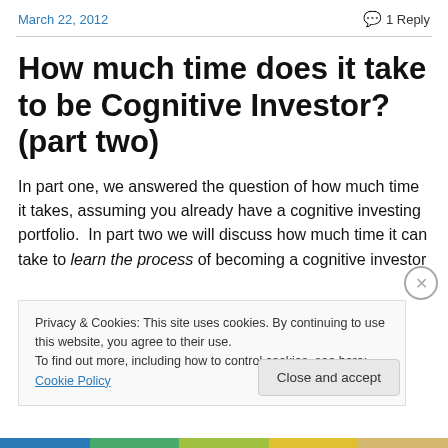March 22, 2012    💬 1 Reply
How much time does it take to be Cognitive Investor? (part two)
In part one, we answered the question of how much time it takes, assuming you already have a cognitive investing portfolio.  In part two we will discuss how much time it can take to learn the process of becoming a cognitive investor
Privacy & Cookies: This site uses cookies. By continuing to use this website, you agree to their use.
To find out more, including how to control cookies, see here: Cookie Policy
Close and accept